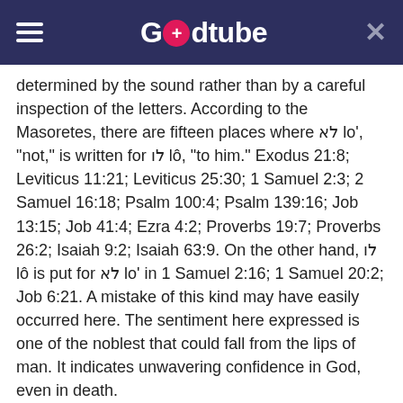Godtube
determined by the sound rather than by a careful inspection of the letters. According to the Masoretes, there are fifteen places where לא lo', "not," is written for לו lô, "to him." Exodus 21:8; Leviticus 11:21; Leviticus 25:30; 1 Samuel 2:3; 2 Samuel 16:18; Psalm 100:4; Psalm 139:16; Job 13:15; Job 41:4; Ezra 4:2; Proverbs 19:7; Proverbs 26:2; Isaiah 9:2; Isaiah 63:9. On the other hand, לו lô is put for לא lo' in 1 Samuel 2:16; 1 Samuel 20:2; Job 6:21. A mistake of this kind may have easily occurred here. The sentiment here expressed is one of the noblest that could fall from the lips of man. It indicates unwavering confidence in God, even in death.
It is the determination of a mind to adhere to him, though he should strip away comfort after comfort, and though there should be no respite to his sorrows until he should sink down in death. This is the highest expression of piety, and thus it is the privilege of the friends of God to experience. When professed